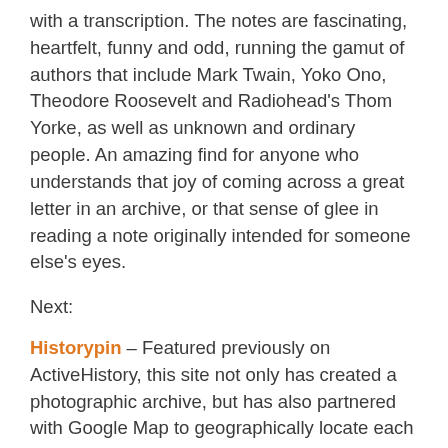with a transcription. The notes are fascinating, heartfelt, funny and odd, running the gamut of authors that include Mark Twain, Yoko Ono, Theodore Roosevelt and Radiohead's Thom Yorke, as well as unknown and ordinary people. An amazing find for anyone who understands that joy of coming across a great letter in an archive, or that sense of glee in reading a note originally intended for someone else's eyes.
Next:
Historypin – Featured previously on ActiveHistory, this site not only has created a photographic archive, but has also partnered with Google Map to geographically locate each photograph. The photos